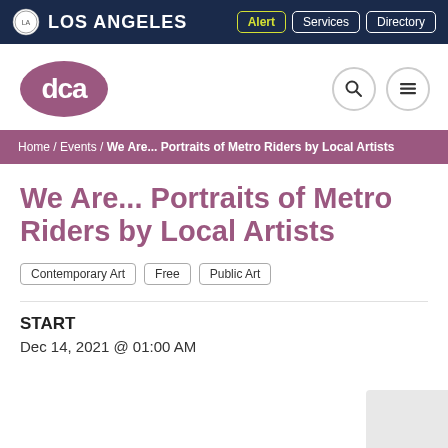LOS ANGELES | Alert | Services | Directory
[Figure (logo): DCA (Department of Cultural Affairs) oval logo in mauve/pink with white text, plus search and menu icons]
Home / Events / We Are... Portraits of Metro Riders by Local Artists
We Are... Portraits of Metro Riders by Local Artists
Contemporary Art
Free
Public Art
START
Dec 14, 2021 @ 01:00 AM